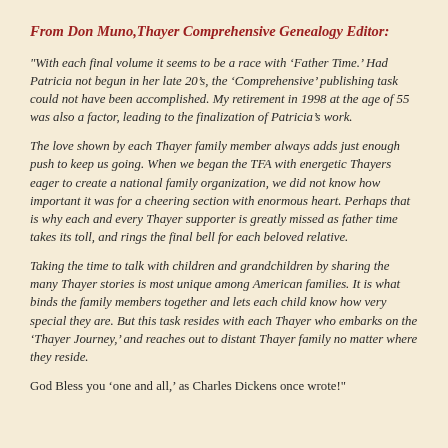From Don Muno, Thayer Comprehensive Genealogy Editor:
"With each final volume it seems to be a race with ‘Father Time.’ Had Patricia not begun in her late 20’s, the ‘Comprehensive’ publishing task could not have been accomplished. My retirement in 1998 at the age of 55 was also a factor, leading to the finalization of Patricia’s work.
The love shown by each Thayer family member always adds just enough push to keep us going. When we began the TFA with energetic Thayers eager to create a national family organization, we did not know how important it was for a cheering section with enormous heart. Perhaps that is why each and every Thayer supporter is greatly missed as father time takes its toll, and rings the final bell for each beloved relative.
Taking the time to talk with children and grandchildren by sharing the many Thayer stories is most unique among American families. It is what binds the family members together and lets each child know how very special they are. But this task resides with each Thayer who embarks on the ‘Thayer Journey,’ and reaches out to distant Thayer family no matter where they reside.
God Bless you ‘one and all,’ as Charles Dickens once wrote!"